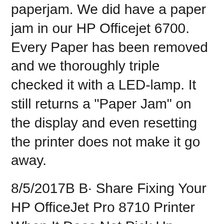paperjam. We did have a paper jam in our HP Officejet 6700. Every Paper has been removed and we thoroughly triple checked it with a LED-lamp. It still returns a "Paper Jam" on the display and even resetting the printer does not make it go away.
8/5/2017B B· Share Fixing Your HP OfficeJet Pro 8710 Printer When It Does Not Pick Up Paper from the Automatic Document Feeder on LinkedIn ; Email Fixing Your HP OfficeJet Pro 8710 Printer When It Does Not Pick Up Paper from the Automatic Document Feeder to a friend Easily manage printing tasks and scan on the go, with the HP All-in-One Printer Remote mobile app.[13] Handle